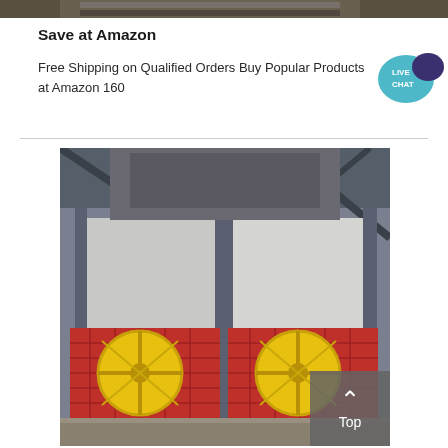[Figure (photo): Top portion of an industrial machine or equipment photo (partially visible, dark tones)]
Save at Amazon
Free Shipping on Qualified Orders Buy Popular Products at Amazon 160
[Figure (other): Live Chat speech bubble badge in teal/blue with text LIVE CHAT]
[Figure (photo): Industrial equipment photo showing a large machine with red metal grating guards and yellow circular fan covers, inside a warehouse/industrial facility with steel framework]
[Figure (other): Gray 'Top' button with upward chevron arrow in bottom-right corner of the lower photo]